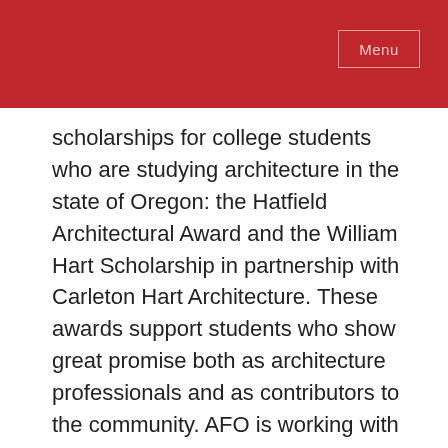Menu
scholarships for college students who are studying architecture in the state of Oregon: the Hatfield Architectural Award and the William Hart Scholarship in partnership with Carleton Hart Architecture. These awards support students who show great promise both as architecture professionals and as contributors to the community. AFO is working with the professional community to increase the award amounts and grow scholarship opportunities for a diverse range of students. Learn more about AFO Scholarships.